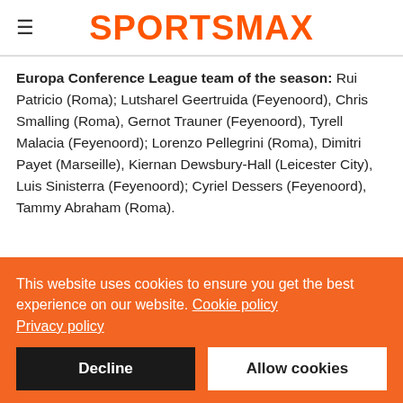SPORTSMAX
Europa Conference League team of the season: Rui Patricio (Roma); Lutsharel Geertruida (Feyenoord), Chris Smalling (Roma), Gernot Trauner (Feyenoord), Tyrell Malacia (Feyenoord); Lorenzo Pellegrini (Roma), Dimitri Payet (Marseille), Kiernan Dewsbury-Hall (Leicester City), Luis Sinisterra (Feyenoord); Cyriel Dessers (Feyenoord), Tammy Abraham (Roma).
This website uses cookies to ensure you get the best experience on our website. Cookie policy Privacy policy
Decline
Allow cookies